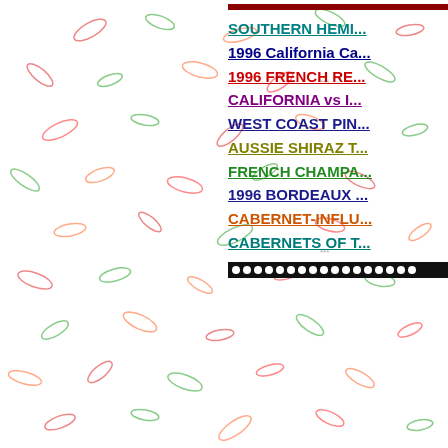[Figure (illustration): Decorative background pattern with scattered colorful leaf/grain shapes in red, green, orange, and pink on white background]
SOUTHERN HEMI...
1996 California Ca...
1996 FRENCH RE...
CALIFORNIA vs I...
WEST COAST PIN...
AUSSIE SHIRAZ T...
FRENCH CHAMPA...
1996 BORDEAUX ...
CABERNET-INFLU...
CABERNETS OF T...